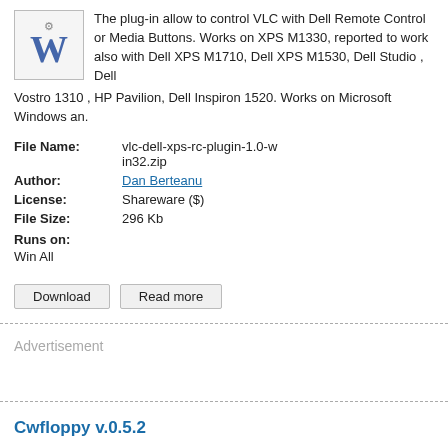The plug-in allow to control VLC with Dell Remote Control or Media Buttons. Works on XPS M1330, reported to work also with Dell XPS M1710, Dell XPS M1530, Dell Studio , Dell Vostro 1310 , HP Pavilion, Dell Inspiron 1520. Works on Microsoft Windows an.
| File Name: | vlc-dell-xps-rc-plugin-1.0-win32.zip |
| Author: | Dan Berteanu |
| License: | Shareware ($) |
| File Size: | 296 Kb |
| Runs on: | Win All |
Advertisement
Cwfloppy v.0.5.2